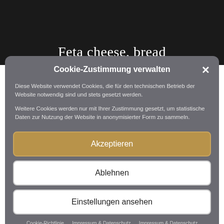Feta cheese, bread
Cookie-Zustimmung verwalten
Diese Website verwendet Cookies, die für den technischen Betrieb der Website notwendig sind und stets gesetzt werden.
Weitere Cookies werden nur mit Ihrer Zustimmung gesetzt, um statistische Daten zur Nutzung der Website in anonymisierter Form zu sammeln.
Akzeptieren
Ablehnen
Einstellungen ansehen
Cookie-Richtlinie · Impressum & Datenschutz · Impressum & Datenschutz